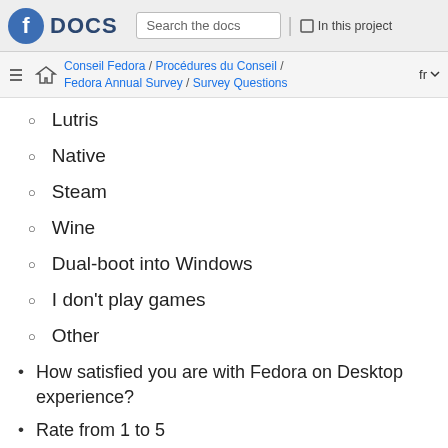DOCS — Search the docs | In this project
Conseil Fedora / Procédures du Conseil / Fedora Annual Survey / Survey Questions — fr
Lutris
Native
Steam
Wine
Dual-boot into Windows
I don't play games
Other
How satisfied you are with Fedora on Desktop experience?
Rate from 1 to 5